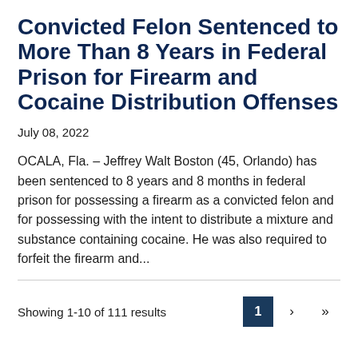Convicted Felon Sentenced to More Than 8 Years in Federal Prison for Firearm and Cocaine Distribution Offenses
July 08, 2022
OCALA, Fla. – Jeffrey Walt Boston (45, Orlando) has been sentenced to 8 years and 8 months in federal prison for possessing a firearm as a convicted felon and for possessing with the intent to distribute a mixture and substance containing cocaine. He was also required to forfeit the firearm and...
Showing 1-10 of 111 results  1  ›  »